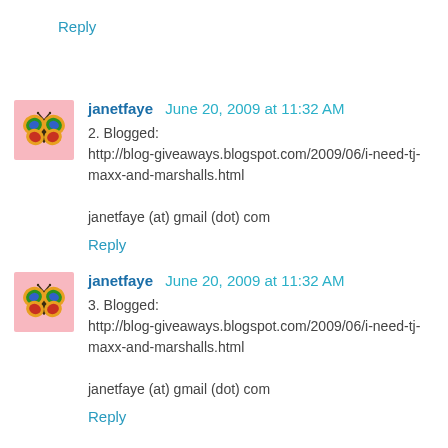Reply
janetfaye  June 20, 2009 at 11:32 AM
2. Blogged: http://blog-giveaways.blogspot.com/2009/06/i-need-tj-maxx-and-marshalls.html

janetfaye (at) gmail (dot) com
Reply
janetfaye  June 20, 2009 at 11:32 AM
3. Blogged: http://blog-giveaways.blogspot.com/2009/06/i-need-tj-maxx-and-marshalls.html

janetfaye (at) gmail (dot) com
Reply